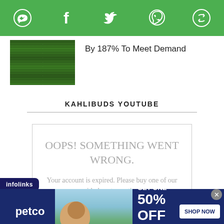[Figure (screenshot): Green share bar with social media icons: Messenger, Facebook, Twitter, WhatsApp, and a share icon]
[Figure (photo): Thumbnail image of aerial rows of green crops]
By 187% To Meet Demand
KAHLIBUDS YOUTUBE
OOPS! SOMETHING WENT WRONG.
Your account is expired. Please buy one of our paid plans to continue.
[Figure (screenshot): Infolinks ad label and Petco banner advertisement: BUY ONE, GET ONE 50% OFF - Help support your dog's joints with a premium supplement. SHOP NOW button.]